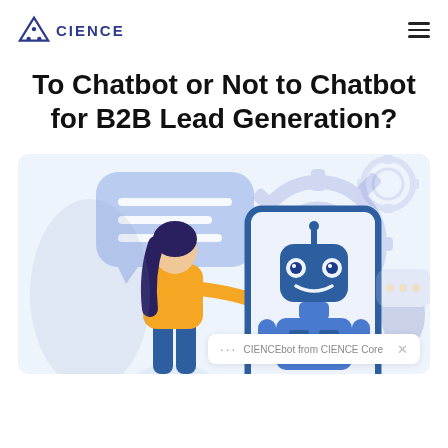CIENCE
To Chatbot or Not to Chatbot for B2B Lead Generation?
[Figure (illustration): Illustration of a woman interacting with a chatbot displayed on a large smartphone screen. A speech bubble with lines and background gear icons are visible. In the bottom right, a chatbot popup panel reads 'CIENCEbot from CIENCE Core' with ellipsis dots and a close button.]